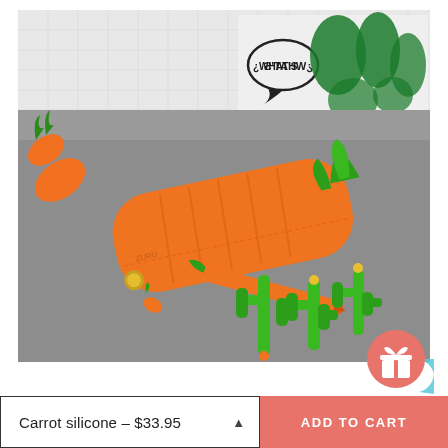[Figure (photo): A carrot-shaped orange silicone pencil case with green leafy zipper pull, open to reveal cactus-shaped and carrot-shaped pens/pencils spilling out. Background shows a decorative mat with green vegetable-themed print and speech bubble. Two additional carrot shapes visible on the left side.]
Carrot silicone – $33.95  ▲
ADD TO CART